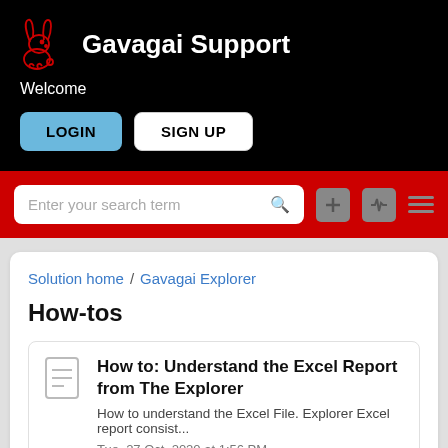Gavagai Support
Welcome
LOGIN  SIGN UP
Enter your search term
Solution home / Gavagai Explorer
How-tos
How to: Understand the Excel Report from The Explorer
How to understand the Excel File. Explorer Excel report consist...
Tue, 27 Oct, 2020 at 1:56 PM